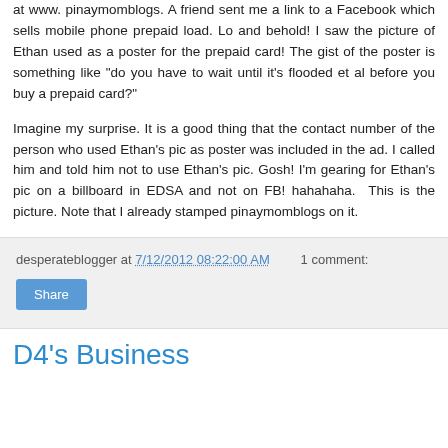at www. pinaymomblogs. A friend sent me a link to a Facebook which sells mobile phone prepaid load. Lo and behold! I saw the picture of Ethan used as a poster for the prepaid card! The gist of the poster is something like "do you have to wait until it's flooded et al before you buy a prepaid card?"

Imagine my surprise. It is a good thing that the contact number of the person who used Ethan's pic as poster was included in the ad. I called him and told him not to use Ethan's pic. Gosh! I'm gearing for Ethan's pic on a billboard in EDSA and not on FB! hahahaha.  This is the picture. Note that I already stamped pinaymomblogs on it.
desperateblogger at 7/12/2012 08:22:00 AM   1 comment:
D4's Business